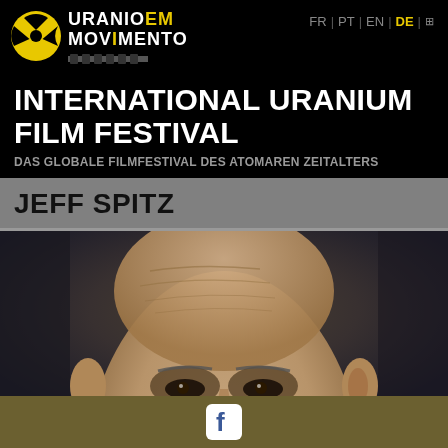URANIO EM MOVIMENTO | FR | PT | EN | DE
INTERNATIONAL URANIUM FILM FESTIVAL
DAS GLOBALE FILMFESTIVAL DES ATOMAREN ZEITALTERS
JEFF SPITZ
[Figure (photo): Close-up portrait photo of Jeff Spitz, a bald man, photographed from slightly below, showing his forehead and partial face with dark background]
Facebook icon